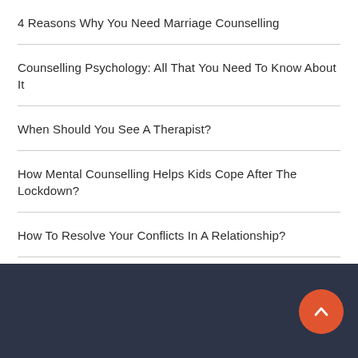4 Reasons Why You Need Marriage Counselling
Counselling Psychology: All That You Need To Know About It
When Should You See A Therapist?
How Mental Counselling Helps Kids Cope After The Lockdown?
How To Resolve Your Conflicts In A Relationship?
Myths And Facts About Senior Mental Health